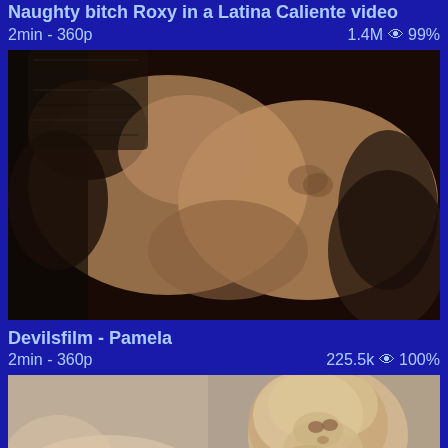Naughty bitch Roxy in a Latina Caliente video
2min - 360p    1.4M 👁 99%
[Figure (photo): Video thumbnail showing adult content]
Devilsfilm - Pamela
2min - 360p    225.5k 👁 100%
[Figure (photo): Video thumbnail showing blonde woman on couch]